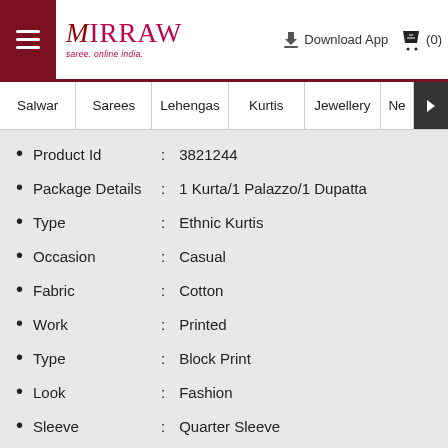Mirraw — Sarees online India | Download App | Cart (0)
Salwar | Sarees | Lehengas | Kurtis | Jewellery | Ne >
Product Id : 3821244
Package Details : 1 Kurta/1 Palazzo/1 Dupatta
Type : Ethnic Kurtis
Occasion : Casual
Fabric : Cotton
Work : Printed
Type : Block Print
Look : Fashion
Sleeve : Quarter Sleeve
Neck Style : Round Neck
Color : Peach
Stitching : Stitched
Length : 46.0